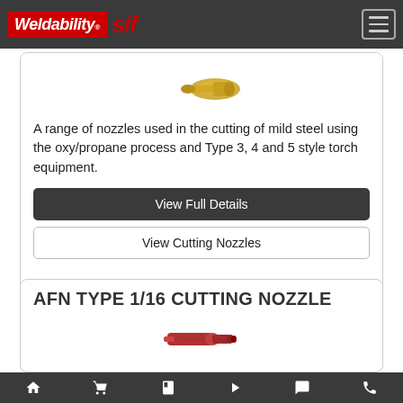Weldability Sif - navigation header
[Figure (photo): Partial view of a brass/gold cutting nozzle product image at top of first card]
A range of nozzles used in the cutting of mild steel using the oxy/propane process and Type 3, 4 and 5 style torch equipment.
View Full Details
View Cutting Nozzles
AFN TYPE 1/16 CUTTING NOZZLE
[Figure (photo): Red/pink cutting nozzle product image, partially visible]
Bottom navigation bar with home, cart, catalogue, video, chat, and phone icons